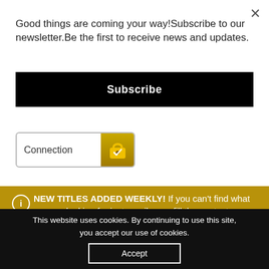Good things are coming your way!Subscribe to our newsletter.Be the first to receive news and updates.
Subscribe
[Figure (other): Connection badge with green/gold icon and checkmark]
NEW TITLES ADDED WEEKLY! If you can't find what you are looking for just email us or fill the contact page form. You can also use Messenger available at the bottom right
This website uses cookies. By continuing to use this site, you accept our use of cookies.
Accept